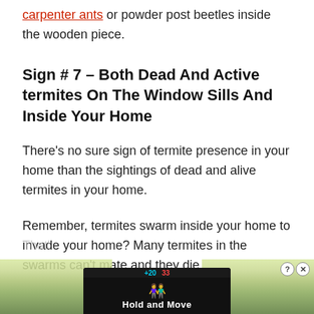carpenter ants or powder post beetles inside the wooden piece.
Sign # 7 – Both Dead And Active termites On The Window Sills And Inside Your Home
There's no sure sign of termite presence in your home than the sightings of dead and alive termites in your home.
Remember, termites swarm inside your home to invade your home? Many termites in the swarms can't mate and they die.
That's
[Figure (screenshot): Advertisement overlay with 'Hold and Move' text and basketball game score, overlaying a nature/trees background image]